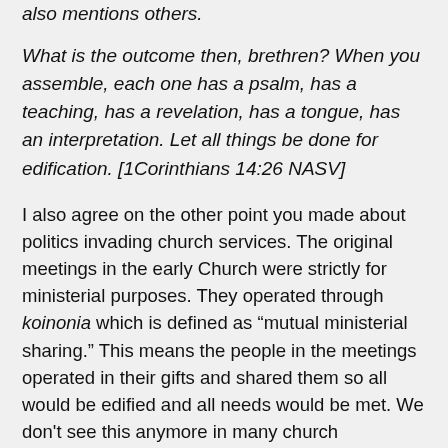also mentions others.
What is the outcome then, brethren? When you assemble, each one has a psalm, has a teaching, has a revelation, has a tongue, has an interpretation. Let all things be done for edification. [1Corinthians 14:26 NASV]
I also agree on the other point you made about politics invading church services. The original meetings in the early Church were strictly for ministerial purposes. They operated through koinonia which is defined as “mutual ministerial sharing.” This means the people in the meetings operated in their gifts and shared them so all would be edified and all needs would be met. We don't see this anymore in many church